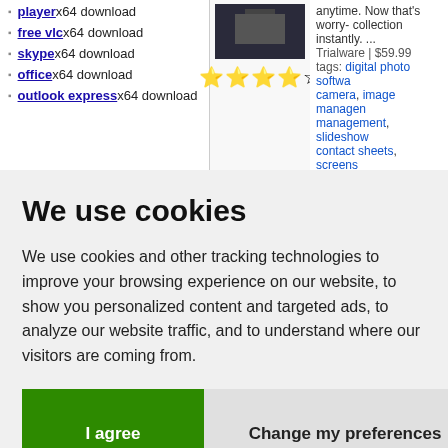player x64 download
free vlc x64 download
skype x64 download
office x64 download
outlook express x64 download
[Figure (photo): Thumbnail image with 3.5 star rating]
anytime. Now that’s worry- collection instantly. ... Trialware | $59.99 tags: digital photo softwa... camera, image managen... management, slideshow... contact sheets, screens...
We use cookies
We use cookies and other tracking technologies to improve your browsing experience on our website, to show you personalized content and targeted ads, to analyze our website traffic, and to understand where our visitors are coming from.
I agree
Change my preferences